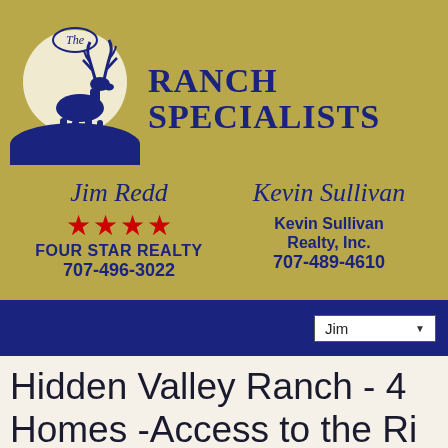[Figure (logo): The Ranch Specialists logo with elk silhouette on moon, Jim Redd Four Star Realty and Kevin Sullivan Realty Inc. contact information on gold/tan background]
Jim  (dropdown selector)
Hidden Valley Ranch - 4 Homes -Access to the Ri...